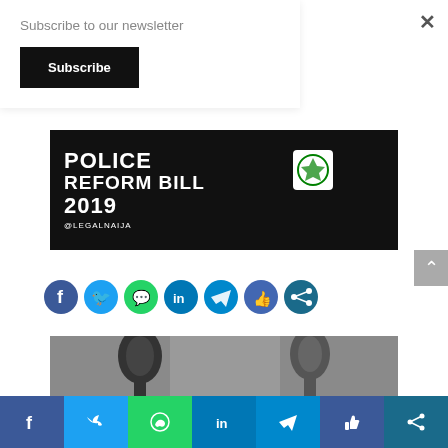Subscribe to our newsletter
Subscribe
[Figure (photo): Police Reform Bill 2019 banner image with white bold text on dark background, @Legalnaija handle, and circular logo badge]
[Figure (infographic): Row of social sharing icon circles: Facebook, Twitter, WhatsApp, LinkedIn, Telegram, Like, Share]
[Figure (photo): Partial photo of microphones/headphones in gray tones]
[Figure (infographic): Bottom social sharing bar with segments: Facebook, Twitter, WhatsApp, LinkedIn, Telegram, Like, Share icons]